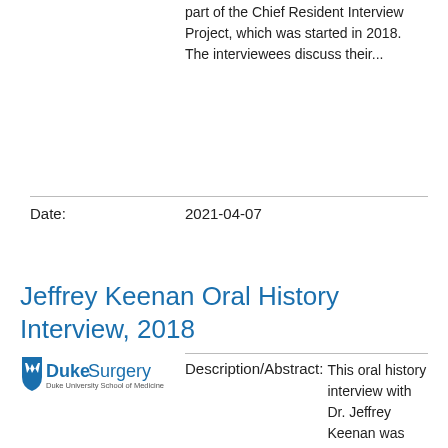part of the Chief Resident Interview Project, which was started in 2018. The interviewees discuss their...
Date: 2021-04-07
Jeffrey Keenan Oral History Interview, 2018
[Figure (logo): Duke Surgery - Duke University School of Medicine logo]
Description/Abstract: This oral history interview with Dr. Jeffrey Keenan was conducted on Nov 8, 2018...